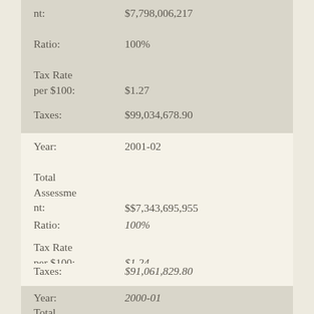nt: $7,798,006,217
Ratio: 100%
Tax Rate per $100: $1.27
Taxes: $99,034,678.90
Year: 2001-02
Total Assessment: $$7,343,695,955
Ratio: 100%
Tax Rate per $100: $1.24
Taxes: $91,061,829.80
Year: 2000-01
Total Assessme